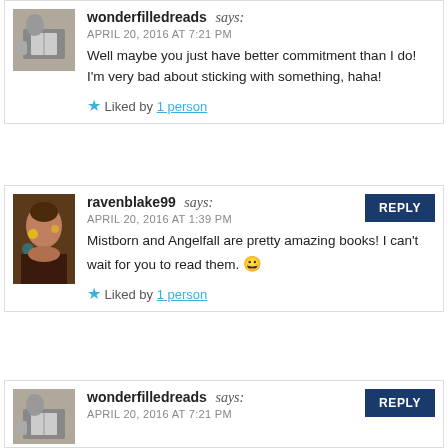[Figure (photo): Avatar of wonderfilledreads - person reading a book, black and white photo]
wonderfilledreads says:
APRIL 20, 2016 AT 7:21 PM
Well maybe you just have better commitment than I do! I'm very bad about sticking with something, haha!
★ Liked by 1 person
[Figure (photo): Avatar of ravenblake99 - woman with decorative lighting, colorful photo]
ravenblake99 says:
APRIL 20, 2016 AT 1:39 PM
Mistborn and Angelfall are pretty amazing books! I can't wait for you to read them. 😀
★ Liked by 1 person
[Figure (photo): Avatar of wonderfilledreads - person reading a book, black and white photo]
wonderfilledreads says:
APRIL 20, 2016 AT 7:21 PM